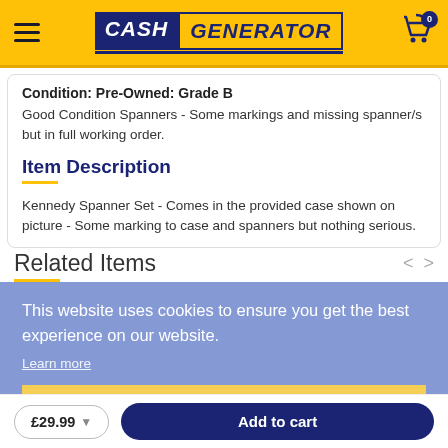Cash Generator
Condition: Pre-Owned: Grade B
Good Condition Spanners - Some markings and missing spanner/s but in full working order.
Item Description
Kennedy Spanner Set - Comes in the provided case shown on picture - Some marking to case and spanners but nothing serious.
This website uses cookies to ensure you get the best experience on our website.
Learn more
Related Items
Got it!
£29.99  Add to cart